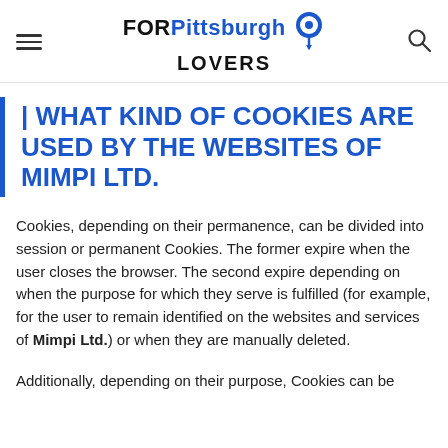FOR Pittsburgh LOVERS [logo with map pin icon]
| WHAT KIND OF COOKIES ARE USED BY THE WEBSITES OF MIMPI LTD.
Cookies, depending on their permanence, can be divided into session or permanent Cookies. The former expire when the user closes the browser. The second expire depending on when the purpose for which they serve is fulfilled (for example, for the user to remain identified on the websites and services of Mimpi Ltd.) or when they are manually deleted.
Additionally, depending on their purpose, Cookies can be